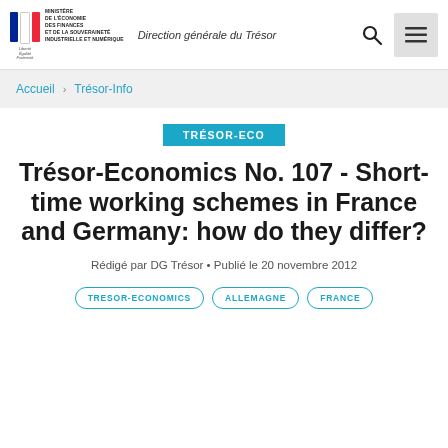Ministère de l'Économie des Finances et de la Souveraineté Industrielle et Numérique — Direction générale du Trésor
Accueil › Trésor-Info
TRÉSOR-ECO
Trésor-Economics No. 107 - Short-time working schemes in France and Germany: how do they differ?
Rédigé par DG Trésor • Publié le 20 novembre 2012
TRESOR-ECONOMICS   ALLEMAGNE   FRANCE